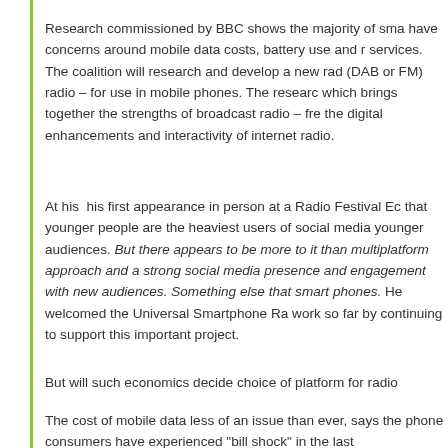Research commissioned by BBC shows the majority of sma have concerns around mobile data costs, battery use and r services. The coalition will research and develop a new rad (DAB or FM) radio – for use in mobile phones. The researc which brings together the strengths of broadcast radio – fre the digital enhancements and interactivity of internet radio.
At his  his first appearance in person at a Radio Festival Ec that younger people are the heaviest users of social media younger audiences. But there appears to be more to it than multiplatform approach and a strong social media presence and engagement with new audiences. Something else that smart phones. He welcomed the Universal Smartphone Ra work so far by continuing to support this important project.
But will such economics decide choice of platform for radio
The cost of mobile data less of an issue than ever, says the phone consumers have experienced "bill shock" in the last